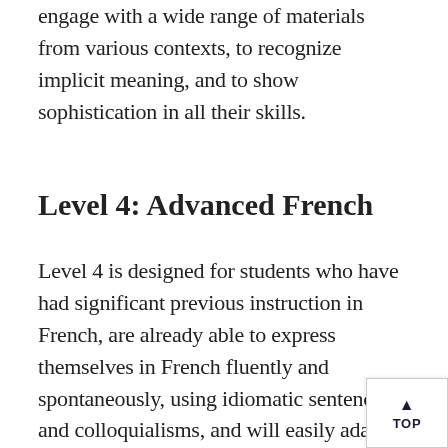engage with a wide range of materials from various contexts, to recognize implicit meaning, and to show sophistication in all their skills.
Level 4: Advanced French
Level 4 is designed for students who have had significant previous instruction in French, are already able to express themselves in French fluently and spontaneously, using idiomatic sentences and colloquialisms, and will easily adapt to and study in full immersion. Typical students at this level demonstrate a high